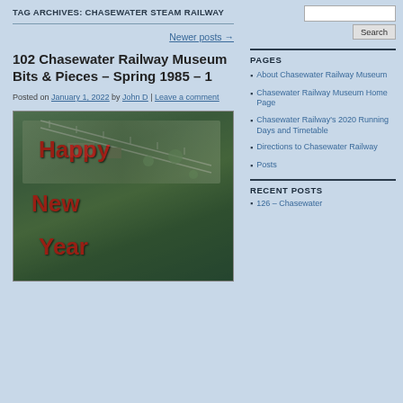TAG ARCHIVES: CHASEWATER STEAM RAILWAY
Newer posts →
102 Chasewater Railway Museum Bits & Pieces – Spring 1985 – 1
Posted on January 1, 2022 by John D | Leave a comment
[Figure (photo): Photo of a model railway layout with Happy New Year text overlay in red]
PAGES
About Chasewater Railway Museum
Chasewater Railway Museum Home Page
Chasewater Railway's 2020 Running Days and Timetable
Directions to Chasewater Railway
Posts
RECENT POSTS
126 – Chasewater